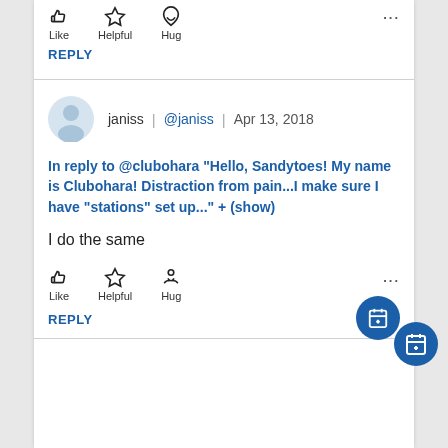Like | Helpful | Hug
REPLY
janiss | @janiss | Apr 13, 2018
In reply to @clubohara "Hello, Sandytoes! My name is Clubohara! Distraction from pain...I make sure I have "stations" set up..." + (show)
I do the same
Like | Helpful | Hug
REPLY